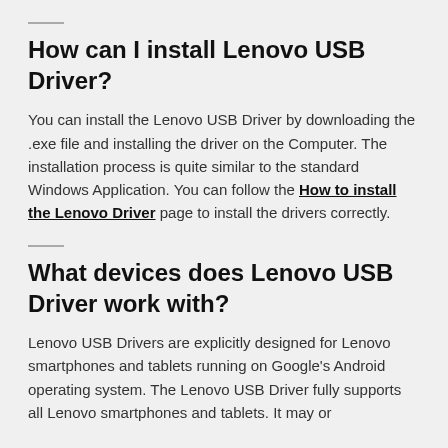How can I install Lenovo USB Driver?
You can install the Lenovo USB Driver by downloading the .exe file and installing the driver on the Computer. The installation process is quite similar to the standard Windows Application. You can follow the How to install the Lenovo Driver page to install the drivers correctly.
What devices does Lenovo USB Driver work with?
Lenovo USB Drivers are explicitly designed for Lenovo smartphones and tablets running on Google's Android operating system. The Lenovo USB Driver fully supports all Lenovo smartphones and tablets. It may or